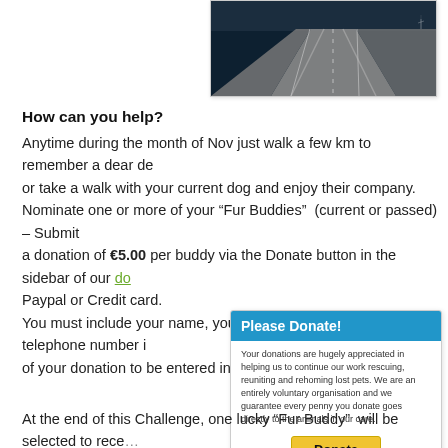[Figure (photo): Aerial photograph of a long bridge over dark water, possibly a motorway bridge viewed from above at an angle.]
How can you help?
Anytime during the month of Nov just walk a few km to remember a dear de… or take a walk with your current dog and enjoy their company.
Nominate one or more of your “Fur Buddies” (current or passed) – Submit… a donation of €5.00 per buddy via the Donate button in the sidebar of our do… Paypal or Credit card.
You must include your name, your pets name and your telephone number i… of your donation to be entered into the Prize Draw.
[Figure (screenshot): A donation widget box with blue header reading 'Please Donate!', descriptive text about donations, a yellow PayPal Donate button, and credit card icons below.]
At the end of this Challenge, one lucky “Fur Buddy”  will be selected to rece…